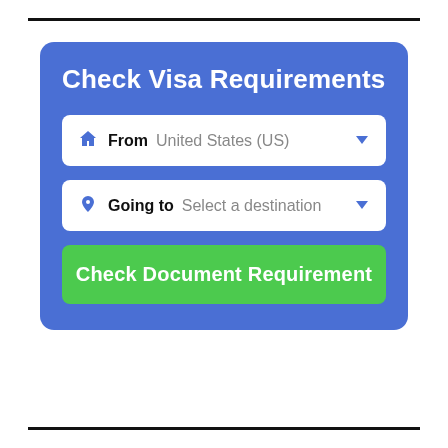[Figure (screenshot): A web UI widget for checking visa requirements. It has a blue rounded card with a title 'Check Visa Requirements', two dropdown selectors ('From: United States (US)' and 'Going to: Select a destination'), and a green button labeled 'Check Document Requirement'.]